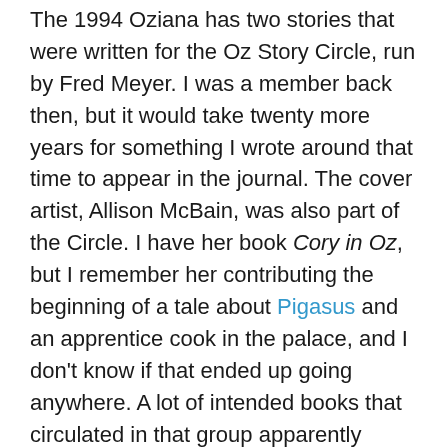The 1994 Oziana has two stories that were written for the Oz Story Circle, run by Fred Meyer. I was a member back then, but it would take twenty more years for something I wrote around that time to appear in the journal. The cover artist, Allison McBain, was also part of the Circle. I have her book Cory in Oz, but I remember her contributing the beginning of a tale about Pigasus and an apprentice cook in the palace, and I don't know if that ended up going anywhere. A lot of intended books that circulated in that group apparently didn't.
"Billy Bumble of Oz," by Jane Albright – Bill Eubank, who did a lot of illustration work for Oziana and other International Wizard of Oz Club publications, died in 1993. He was also a puppeteer and a clown called Billy Bumble. This story is dedicated to him, and is sort of a fictionalized version of his childhood. In this tale, a boy named Billy